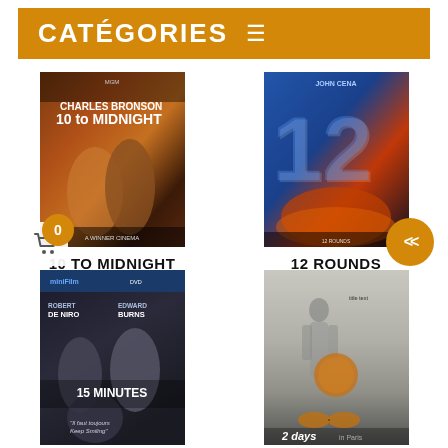CATÉGORIES
[Figure (photo): Movie poster for 10 to Midnight featuring Charles Bronson]
10 TO MIDNIGHT
[Figure (photo): Movie poster for 12 Rounds featuring action scene]
12 ROUNDS
[Figure (photo): Movie poster for 15 Minutes featuring Robert De Niro and Edward Burns]
[Figure (photo): Movie poster for 2 Days in Paris]